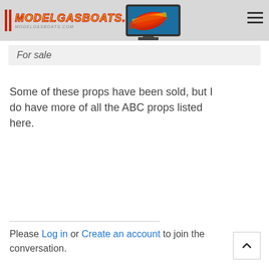[Figure (logo): ModelGasBoats.com logo with red vertical bars, yellow italic text, and a model boat image]
For sale
Some of these props have been sold, but I do have more of all the ABC props listed here.
Please Log in or Create an account to join the conversation.